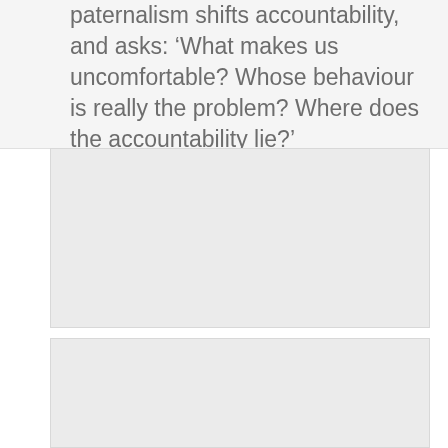paternalism shifts accountability, and asks: ‘What makes us uncomfortable? Whose behaviour is really the problem? Where does the accountability lie?’
[Figure (other): Gray placeholder block, middle section]
[Figure (other): Gray placeholder block, bottom section]